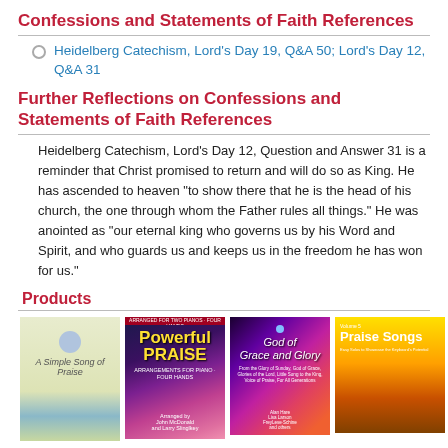Confessions and Statements of Faith References
Heidelberg Catechism, Lord's Day 19, Q&A 50; Lord's Day 12, Q&A 31
Further Reflections on Confessions and Statements of Faith References
Heidelberg Catechism, Lord's Day 12, Question and Answer 31 is a reminder that Christ promised to return and will do so as King. He has ascended to heaven “to show there that he is the head of his church, the one through whom the Father rules all things.” He was anointed as “our eternal king who governs us by his Word and Spirit, and who guards us and keeps us in the freedom he has won for us.”
Products
[Figure (photo): Four book covers in a row: A Simple Song of Praise, Powerful Praise, God of Grace and Glory, Praise Songs]